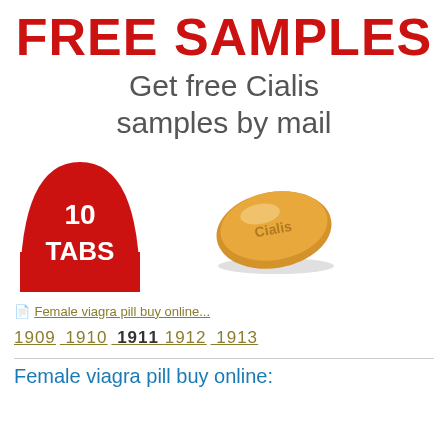FREE SAMPLES
Get free Cialis samples by mail
[Figure (illustration): Red semicircle badge with white text '10 TABS' and an orange/gold Cialis pill tablet on the right]
Female viagra pill buy online...
1909 1910 1911 1912 1913
Female viagra pill buy online: